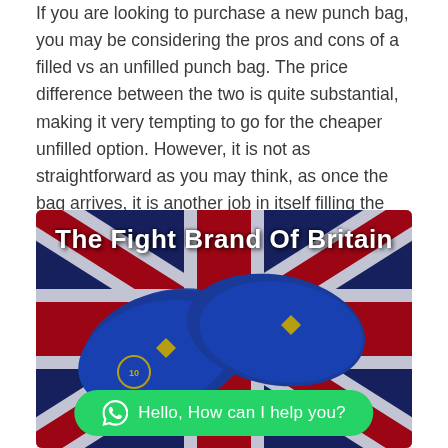If you are looking to purchase a new punch bag, you may be considering the pros and cons of a filled vs an unfilled punch bag. The price difference between the two is quite substantial, making it very tempting to go for the cheaper unfilled option. However, it is not as straightforward as you may think, as once the bag arrives, it is another job in itself filling the empty bag.
[Figure (photo): Advertisement banner for 'The Fight Brand Of Britain' showing blue and gold boxing gloves on a Union Jack background, with a WhatsApp chat button saying 'Hello, How can I help you?']